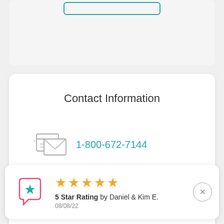[Figure (other): Teal outlined button at top of page, partially visible]
Contact Information
[Figure (other): Icon showing overlapping envelope and document/fax machine silhouettes in gray outline style]
1-800-672-7144
info@burnsandburns.com
[Figure (other): Review widget card with chat bubble icon with star (teal/pink), 5 gold stars rating, label '5 Star Rating by Daniel & Kim E.' dated 08/08/22, and a close (X) button]
5 Star Rating by Daniel & Kim E.
08/08/22